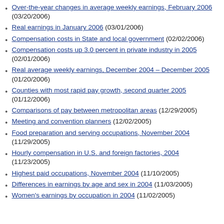Over-the-year changes in average weekly earnings, February 2006 (03/20/2006)
Real earnings in January 2006 (03/01/2006)
Compensation costs in State and local government (02/02/2006)
Compensation costs up 3.0 percent in private industry in 2005 (02/01/2006)
Real average weekly earnings, December 2004 – December 2005 (01/20/2006)
Counties with most rapid pay growth, second quarter 2005 (01/12/2006)
Comparisons of pay between metropolitan areas (12/29/2005)
Meeting and convention planners (12/02/2005)
Food preparation and serving occupations, November 2004 (11/29/2005)
Hourly compensation in U.S. and foreign factories, 2004 (11/23/2005)
Highest paid occupations, November 2004 (11/10/2005)
Differences in earnings by age and sex in 2004 (11/03/2005)
Women's earnings by occupation in 2004 (11/02/2005)